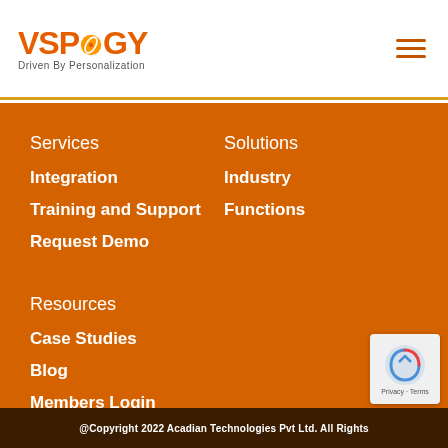[Figure (logo): VSPOGY logo with tagline 'Driven By Personalization']
Services
Solutions
Integration
Industry
Training and Support
Functions
Request Demo
Resources
Case Studies
Blog
Members Login
@Copyright 2022 Acadian Technologies Pvt Ltd. All Rights